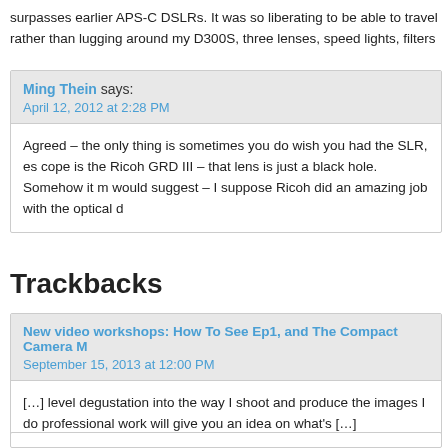surpasses earlier APS-C DSLRs. It was so liberating to be able to travel rather than lugging around my D300S, three lenses, speed lights, filters
Ming Thein says:
April 12, 2012 at 2:28 PM
Agreed – the only thing is sometimes you do wish you had the SLR, es cope is the Ricoh GRD III – that lens is just a black hole. Somehow it m would suggest – I suppose Ricoh did an amazing job with the optical d
Trackbacks
New video workshops: How To See Ep1, and The Compact Camera M
September 15, 2013 at 12:00 PM
[…] level degustation into the way I shoot and produce the images I do professional work will give you an idea on what's […]